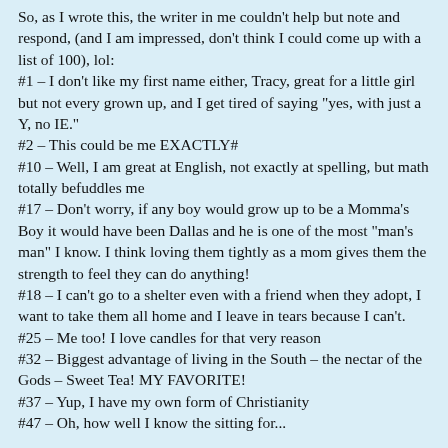So, as I wrote this, the writer in me couldn't help but note and respond, (and I am impressed, don't think I could come up with a list of 100), lol:
#1 – I don't like my first name either, Tracy, great for a little girl but not every grown up, and I get tired of saying "yes, with just a Y, no IE."
#2 – This could be me EXACTLY#
#10 – Well, I am great at English, not exactly at spelling, but math totally befuddles me
#17 – Don't worry, if any boy would grow up to be a Momma's Boy it would have been Dallas and he is one of the most "man's man" I know. I think loving them tightly as a mom gives them the strength to feel they can do anything!
#18 – I can't go to a shelter even with a friend when they adopt, I want to take them all home and I leave in tears because I can't.
#25 – Me too! I love candles for that very reason
#32 – Biggest advantage of living in the South – the nectar of the Gods – Sweet Tea! MY FAVORITE!
#37 – Yup, I have my own form of Christianity
#47 – Oh, how well I know the sitting for...